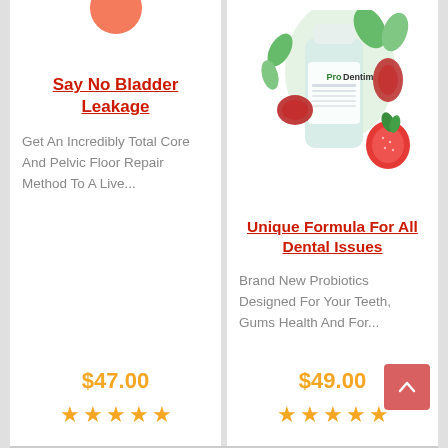[Figure (illustration): Partial orange circle at top of left product card]
Say No Bladder Leakage
Get An Incredibly Total Core And Pelvic Floor Repair Method To A Live...
$47.00
[Figure (illustration): 5 orange stars rating for left product]
[Figure (photo): ProDentim supplement bottle with strawberries, red gummies, and mint leaves]
Unique Formula For All Dental Issues
Brand New Probiotics Designed For Your Teeth, Gums Health And For...
$49.00
[Figure (illustration): 5 orange stars rating for right product]
[Figure (illustration): Scroll-to-top button with upward chevron arrow]